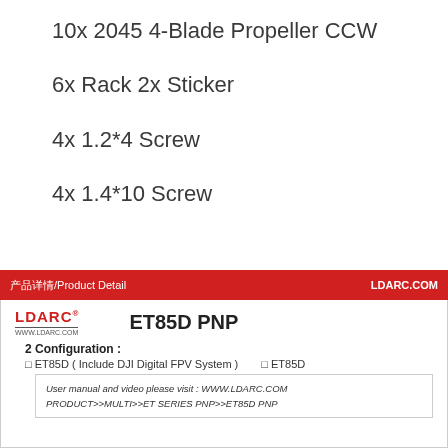10x 2045 4-Blade Propeller CCW
6x Rack 2x Sticker
4x 1.2*4 Screw
4x 1.4*10 Screw
产品详情/Product Detail    LDARC.COM
ET85D PNP
2 Configuration :
□ ET85D ( Include DJI Digital FPV System )    □ ET85D
User manual and video please visit : WWW.LDARC.COM
PRODUCT>>MULTI>>ET SERIES PNP>>ET85D PNP